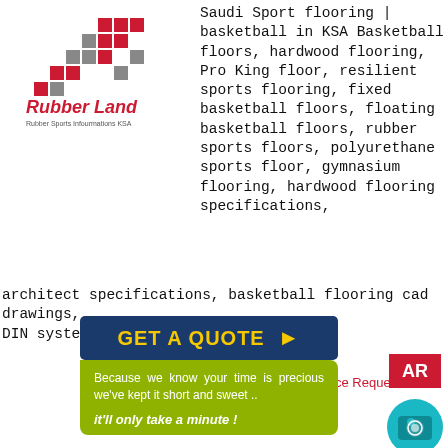[Figure (logo): Rubber Land logo with red and gray pixel/square pattern and text 'Rubber Land' in red, subtitle 'Rubber Sports Infourmations KSA']
Saudi Sport flooring | basketball in KSA Basketball floors, hardwood flooring, Pro King floor, resilient sports flooring, fixed basketball floors, floating basketball floors, rubber sports floors, polyurethane sports floor, gymnasium flooring, hardwood flooring specifications, architect specifications, basketball flooring cad drawings, DIN system n
[Figure (infographic): Dark blue button with yellow text 'GET A QUOTE >' followed by olive/yellow-green callout box saying 'Because we know your time is precious we've kept it short and sweet .. it'll only take a minute!']
ce Request    Contact
[Figure (other): Red AR button, teal Instagram camera icon, dark teal play button circle]
www.rubberland.en.info
Hahaha September 22, 2021 at 2:04 AM
This is very interesting, You are a very professional blogger. I've joined your feed and look ahead to seeking